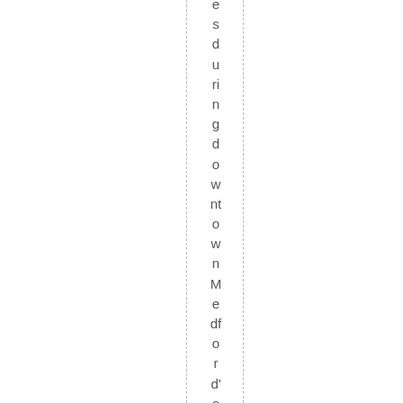es during downtown Medford's Art in B